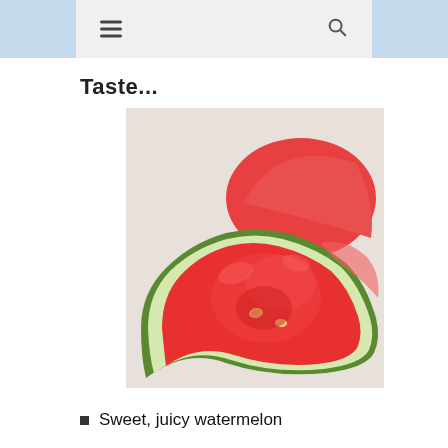Taste...
[Figure (photo): Close-up photo of slices of fresh watermelon showing bright red flesh with white seeds and green rind on a white plate background.]
Sweet, juicy watermelon